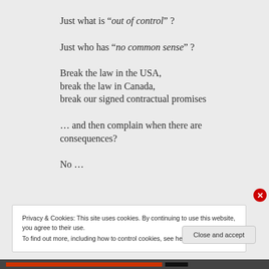Just what is “out of control” ?
Just who has “no common sense” ?
Break the law in the USA,
break the law in Canada,
break our signed contractual promises
… and then complain when there are consequences?
No …
Privacy & Cookies: This site uses cookies. By continuing to use this website, you agree to their use.
To find out more, including how to control cookies, see here: Cookie Policy